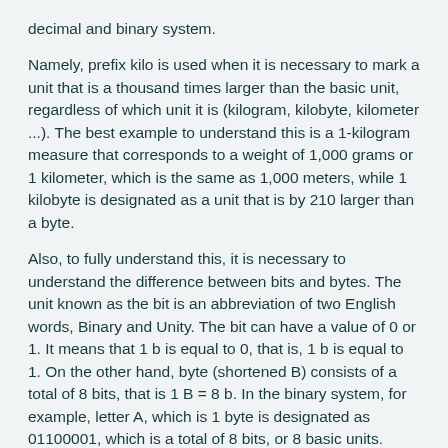decimal and binary system.
Namely, prefix kilo is used when it is necessary to mark a unit that is a thousand times larger than the basic unit, regardless of which unit it is (kilogram, kilobyte, kilometer ...). The best example to understand this is a 1-kilogram measure that corresponds to a weight of 1,000 grams or 1 kilometer, which is the same as 1,000 meters, while 1 kilobyte is designated as a unit that is by 210 larger than a byte.
Also, to fully understand this, it is necessary to understand the difference between bits and bytes. The unit known as the bit is an abbreviation of two English words, Binary and Unity. The bit can have a value of 0 or 1. It means that 1 b is equal to 0, that is, 1 b is equal to 1. On the other hand, byte (shortened B) consists of a total of 8 bits, that is 1 B = 8 b. In the binary system, for example, letter A, which is 1 byte is designated as 01100001, which is a total of 8 bits, or 8 basic units.
With bit and byte, there are kilobit or kilobyte. The kilobit unit is abbreviated as Kb, as opposed to a kilobyte